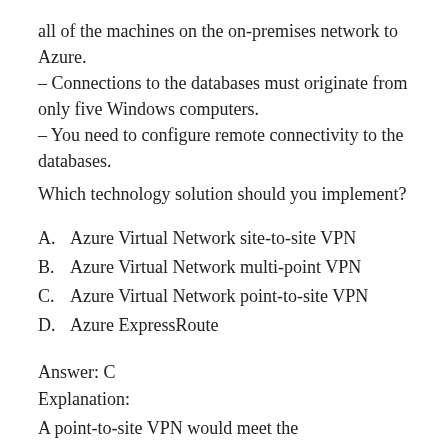all of the machines on the on-premises network to Azure.
– Connections to the databases must originate from only five Windows computers.
– You need to configure remote connectivity to the databases.
Which technology solution should you implement?
A. Azure Virtual Network site-to-site VPN
B. Azure Virtual Network multi-point VPN
C. Azure Virtual Network point-to-site VPN
D. Azure ExpressRoute
Answer: C
Explanation:
A point-to-site VPN would meet the